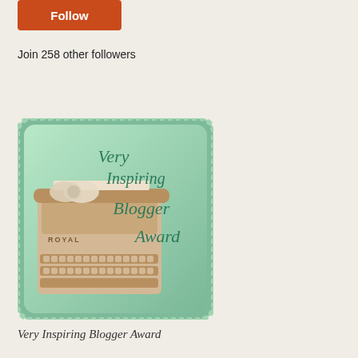[Figure (other): Orange/red rounded button with text 'Follow']
Join 258 other followers
[Figure (photo): Very Inspiring Blogger Award image — a vintage Royal typewriter with a bow on a mint green background, with decorative scalloped border. Text on image reads 'Very Inspiring Blogger Award' in cursive script.]
Very Inspiring Blogger Award